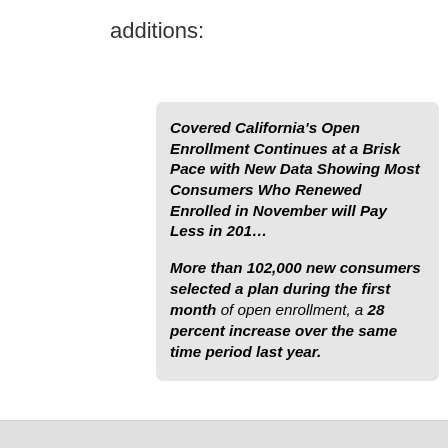additions:
[Figure (other): Blockquote box with gray background containing article title and excerpt: 'Covered California's Open Enrollment Continues at a Brisk Pace with New Data Showing Most Consumers Who Renewed Enrolled in November will Pay Less in 201...' and body text 'More than 102,000 new consumers selected a plan during the first month of open enrollment, a 28 percent increase over the same time period last year.']
Read more
Charles Gaba's blog
0 Comments
California
OE5